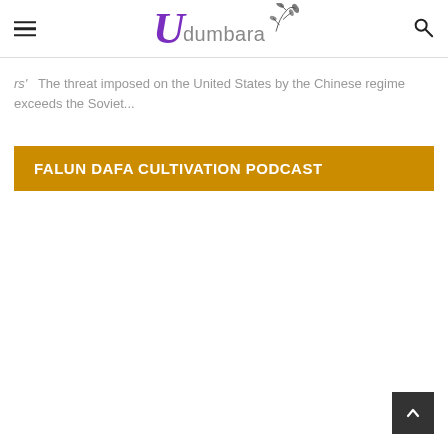Udumbara
rs'  The threat imposed on the United States by the Chinese regime exceeds the Soviet...
FALUN DAFA CULTIVATION PODCAST